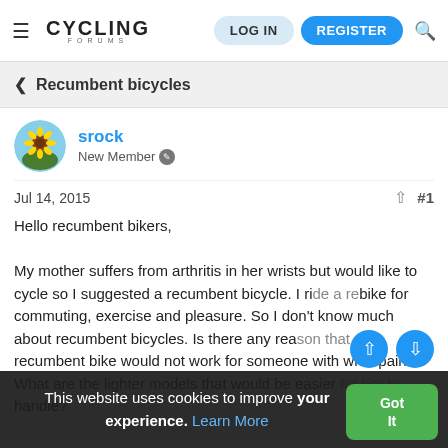CYCLING FORUMS — LOG IN | REGISTER
< Recumbent bicycles
srock
New Member
Jul 14, 2015  #1
Hello recumbent bikers,

My mother suffers from arthritis in her wrists but would like to cycle so I suggested a recumbent bicycle. I ride a recumbent bike for commuting, exercise and pleasure. So I don't know much about recumbent bicycles. Is there any reason that a recumbent bike would not work for someone with wrist pain? What are the lighter models that would be easier for her to handle?
This website uses cookies to improve your experience. Learn More